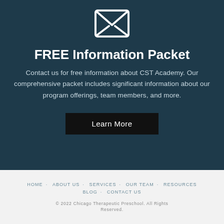[Figure (illustration): White envelope/mail icon with an X pattern on a dark teal background]
FREE Information Packet
Contact us for free information about CST Academy. Our comprehensive packet includes significant information about our program offerings, team members, and more.
Learn More
HOME   ABOUT US   SERVICES   OUR TEAM   RESOURCES   BLOG   CONTACT US
© 2022 Chicago Therapeutic Preschool. All Rights Reserved.